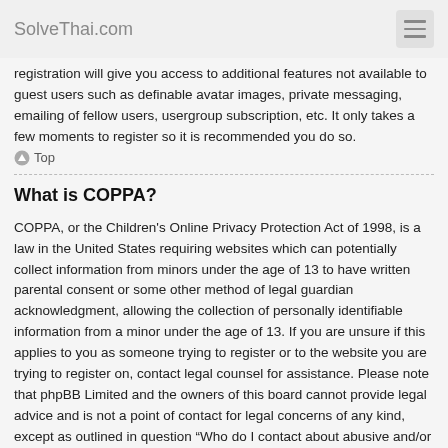SolveThai.com
registration will give you access to additional features not available to guest users such as definable avatar images, private messaging, emailing of fellow users, usergroup subscription, etc. It only takes a few moments to register so it is recommended you do so.
Top
What is COPPA?
COPPA, or the Children's Online Privacy Protection Act of 1998, is a law in the United States requiring websites which can potentially collect information from minors under the age of 13 to have written parental consent or some other method of legal guardian acknowledgment, allowing the collection of personally identifiable information from a minor under the age of 13. If you are unsure if this applies to you as someone trying to register or to the website you are trying to register on, contact legal counsel for assistance. Please note that phpBB Limited and the owners of this board cannot provide legal advice and is not a point of contact for legal concerns of any kind, except as outlined in question “Who do I contact about abusive and/or legal matters related to this board?”.
Top